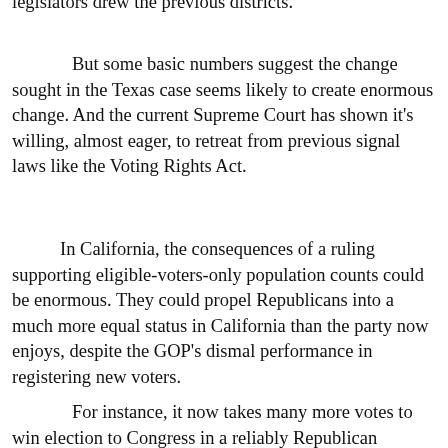legislators drew the previous districts.
But some basic numbers suggest the change sought in the Texas case seems likely to create enormous change. And the current Supreme Court has shown it's willing, almost eager, to retreat from previous signal laws like the Voting Rights Act.
In California, the consequences of a ruling supporting eligible-voters-only population counts could be enormous. They could propel Republicans into a much more equal status in California than the party now enjoys, despite the GOP's dismal performance in registering new voters.
For instance, it now takes many more votes to win election to Congress in a reliably Republican